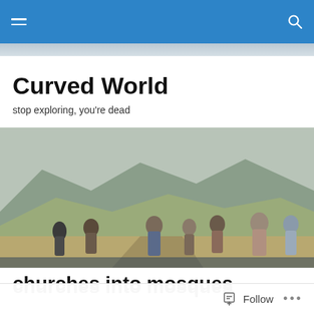Curved World — navigation bar
Curved World
stop exploring, you're dead
[Figure (photo): Group of people standing on a mountain road looking at a wide valley with hills and mountains in the background.]
churches into mosques
Aya Sofia is the most obvious example, but there are a few less famous ones around Istanbul: the Turks came,
Follow  •••